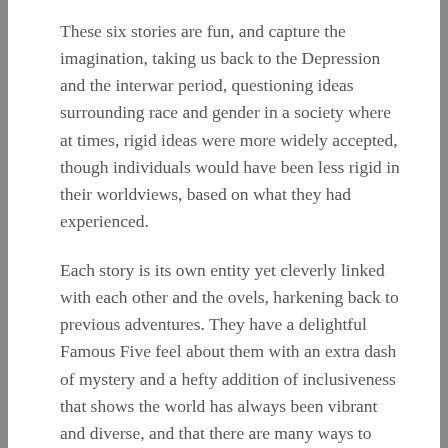These six stories are fun, and capture the imagination, taking us back to the Depression and the interwar period, questioning ideas surrounding race and gender in a society where at times, rigid ideas were more widely accepted, though individuals would have been less rigid in their worldviews, based on what they had experienced.
Each story is its own entity yet cleverly linked with each other and the ovels, harkening back to previous adventures. They have a delightful Famous Five feel about them with an extra dash of mystery and a hefty addition of inclusiveness that shows the world has always been vibrant and diverse, and that there are many ways to explore identity, history and mystery within literature, whilst showing what the world was like in the 1930s, and the stark differences that in 2021 seem old-fashioned yet allow the setting to come to life and allow readers to understand how things have changed since 1936 and the events that led to World War Two and the past...